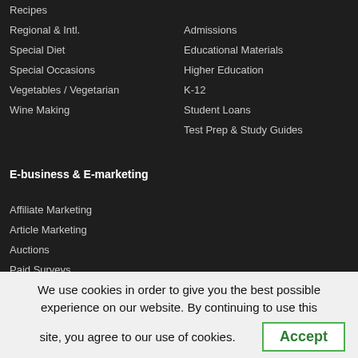Recipes
Regional & Intl.
Special Diet
Special Occasions
Vegetables / Vegetarian
Wine Making
Admissions
Educational Materials
Higher Education
K-12
Student Loans
Test Prep & Study Guides
E-business & E-marketing
Affiliate Marketing
Article Marketing
Auctions
Paid Surveys
Banners
We use cookies in order to give you the best possible experience on our website. By continuing to use this site, you agree to our use of cookies.
Accept